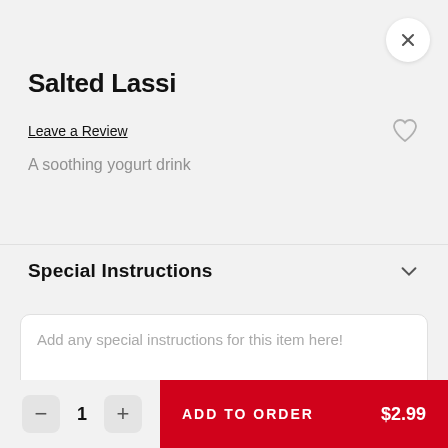Salted Lassi
Leave a Review
A soothing yogurt drink
Special Instructions
Add any special instructions for this item here!
− 1 +
ADD TO ORDER $2.99